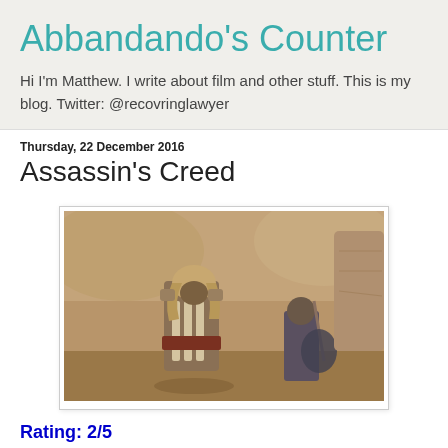Abbandando's Counter
Hi I'm Matthew. I write about film and other stuff. This is my blog. Twitter: @recovringlawyer
Thursday, 22 December 2016
Assassin's Creed
[Figure (photo): A hooded figure in desert/medieval costume standing in a sandy rocky environment, from the Assassin's Creed film]
Rating: 2/5